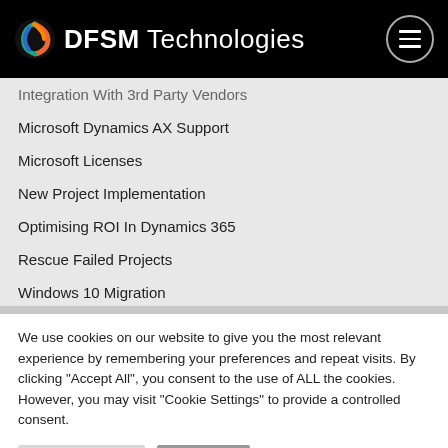DFSM Technologies
Integration With 3rd Party Vendors
Microsoft Dynamics AX Support
Microsoft Licenses
New Project Implementation
Optimising ROI In Dynamics 365
Rescue Failed Projects
Windows 10 Migration
User Training, Security, Reports
Upgrade To Microsoft Dynamics 365
We use cookies on our website to give you the most relevant experience by remembering your preferences and repeat visits. By clicking "Accept All", you consent to the use of ALL the cookies. However, you may visit "Cookie Settings" to provide a controlled consent.